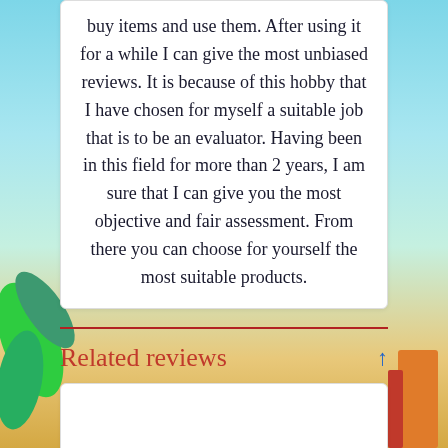buy items and use them. After using it for a while I can give the most unbiased reviews. It is because of this hobby that I have chosen for myself a suitable job that is to be an evaluator. Having been in this field for more than 2 years, I am sure that I can give you the most objective and fair assessment. From there you can choose for yourself the most suitable products.
Related reviews